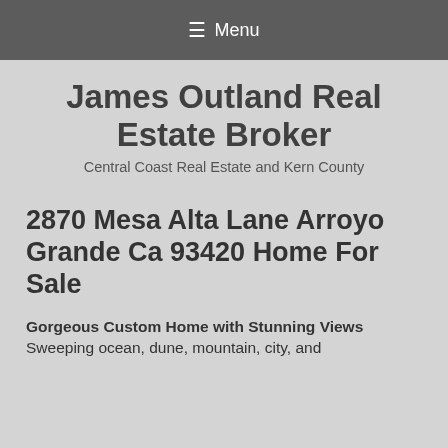≡ Menu
James Outland Real Estate Broker
Central Coast Real Estate and Kern County
2870 Mesa Alta Lane Arroyo Grande Ca 93420 Home For Sale
Gorgeous Custom Home with Stunning Views
Sweeping ocean, dune, mountain, city, and